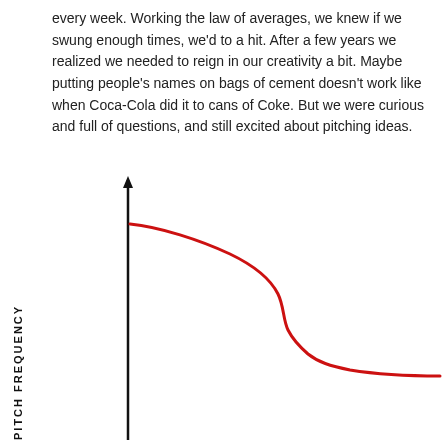every week. Working the law of averages, we knew if we swung enough times, we'd to a hit. After a few years we realized we needed to reign in our creativity a bit. Maybe putting people's names on bags of cement doesn't work like when Coca-Cola did it to cans of Coke. But we were curious and full of questions, and still excited about pitching ideas.
[Figure (continuous-plot): A line chart with a vertical axis labeled 'PITCH FREQUENCY' (rotated 90 degrees, text written bottom to top). The red curve starts high on the left, gradually decreases, has a sharp S-shaped drop in the middle, then levels off at a lower value toward the right. No x-axis label or tick marks are shown.]